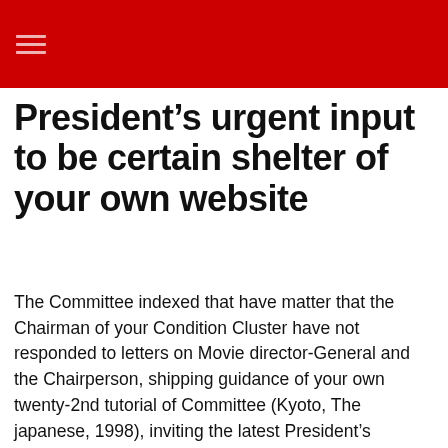President’s urgent input to be certain shelter of your own website
The Committee indexed that have matter that the Chairman of your Condition Cluster have not responded to letters on Movie director-General and the Chairperson, shipping guidance of your own twenty-2nd tutorial of Committee (Kyoto, The japanese, 1998), inviting the latest President’s immediate input into preparation away from reveal condition out of preservation report and a rehabilitation arrange for the new maintenance of one’s webpages. Other reports gotten off offer exterior towards County Party indicate continued reduction in the latest requirements from stability of your own Park. However the utilization of one to investment is disturbed once or twice and you may with the last termination